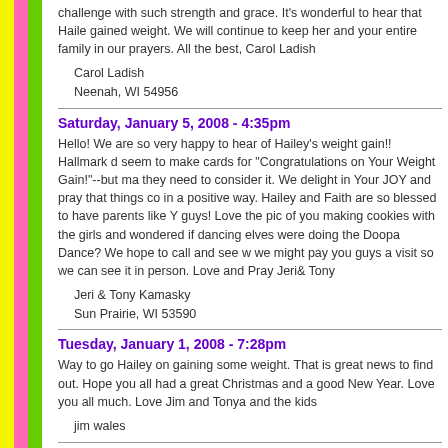challenge with such strength and grace. It's wonderful to hear that Haile gained weight. We will continue to keep her and your entire family in our prayers. All the best, Carol Ladish
Carol Ladish
Neenah, WI 54956
Saturday, January 5, 2008 - 4:35pm
Hello! We are so very happy to hear of Hailey's weight gain!! Hallmark d seem to make cards for "Congratulations on Your Weight Gain!"--but ma they need to consider it. We delight in Your JOY and pray that things co in a positive way. Hailey and Faith are so blessed to have parents like Y guys! Love the pic of you making cookies with the girls and wondered if dancing elves were doing the Doopa Dance? We hope to call and see w we might pay you guys a visit so we can see it in person. Love and Pray Jeri& Tony
Jeri & Tony Kamasky
Sun Prairie, WI 53590
Tuesday, January 1, 2008 - 7:28pm
Way to go Hailey on gaining some weight. That is great news to find out. Hope you all had a great Christmas and a good New Year. Love you all much. Love Jim and Tonya and the kids
jim wales